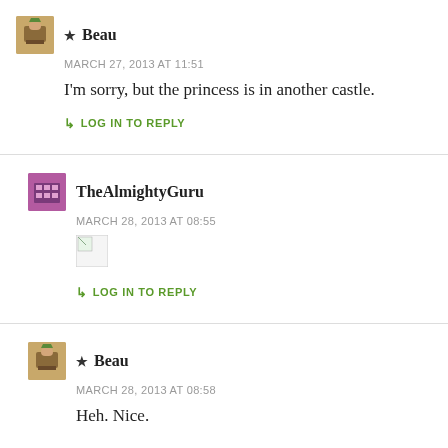Beau — MARCH 27, 2013 AT 11:51 — I'm sorry, but the princess is in another castle.
LOG IN TO REPLY
TheAlmightyGuru — MARCH 28, 2013 AT 08:55
[Figure (other): Broken image placeholder]
LOG IN TO REPLY
Beau — MARCH 28, 2013 AT 08:58 — Heh. Nice.